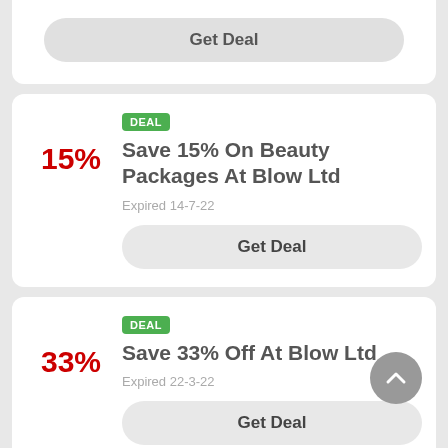Get Deal
Save 15% On Beauty Packages At Blow Ltd
Expired 14-7-22
Get Deal
Save 33% Off At Blow Ltd
Expired 22-3-22
Get Deal